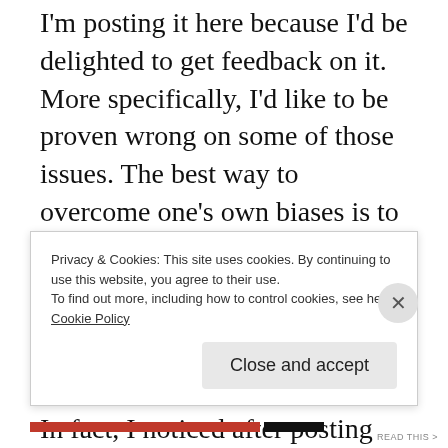I'm posting it here because I'd be delighted to get feedback on it. More specifically, I'd like to be proven wrong on some of those issues. The best way to overcome one's own biases is to publicly discuss them and it's quite possible that my perspective or that my observations are flawed.
In fact, I noticed after posting that message that the Northwest Territories (NT) follow their own language policies, giving official
Privacy & Cookies: This site uses cookies. By continuing to use this website, you agree to their use.
To find out more, including how to control cookies, see here:
Cookie Policy